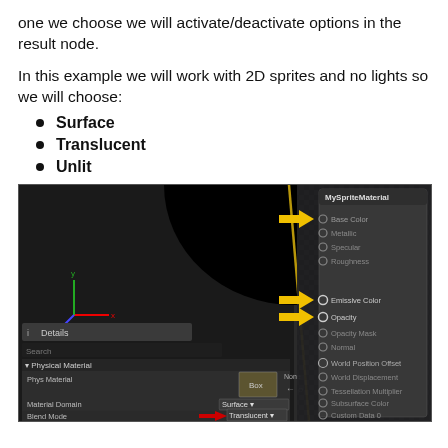one we choose we will activate/deactivate options in the result node.
In this example we will work with 2D sprites and no lights so we will choose:
Surface
Translucent
Unlit
[Figure (screenshot): Unreal Engine material editor screenshot showing the Details panel with Physical Material and Material sections (Material Domain: Surface, Blend Mode: Translucent with red arrow), and on the right the MySpriteMaterial node panel with yellow arrows pointing to Base Color, Emissive Color, and Opacity pins.]